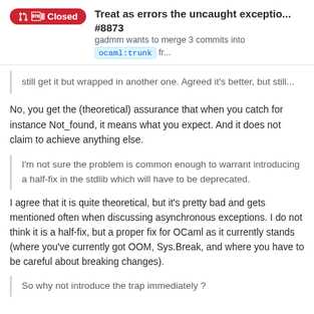Treat as errors the uncaught exceptio... #8873 gadmm wants to merge 3 commits into ocaml:trunk fr...
still get it but wrapped in another one. Agreed it's better, but still...
No, you get the (theoretical) assurance that when you catch for instance Not_found, it means what you expect. And it does not claim to achieve anything else.
I'm not sure the problem is common enough to warrant introducing a half-fix in the stdlib which will have to be deprecated.
I agree that it is quite theoretical, but it's pretty bad and gets mentioned often when discussing asynchronous exceptions. I do not think it is a half-fix, but a proper fix for OCaml as it currently stands (where you've currently got OOM, Sys.Break, and where you have to be careful about breaking changes).
So why not introduce the trap immediately ?